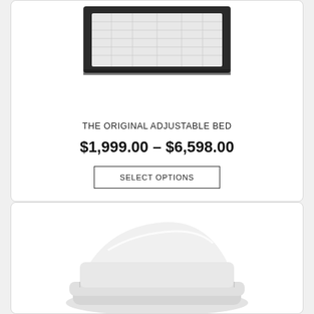[Figure (photo): Top-down view of a dark-framed adjustable bed frame with white mattress surface, partially cropped at top]
THE ORIGINAL ADJUSTABLE BED
$1,999.00 – $6,598.00
SELECT OPTIONS
[Figure (photo): White adjustable bed base / mattress foundation shown at an angle, partially cropped]